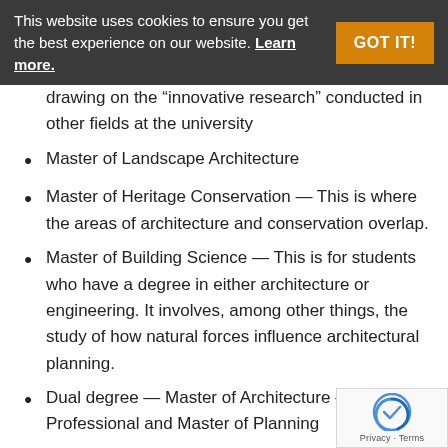This website uses cookies to ensure you get the best experience on our website. Learn more.
drawing on the “innovative research” conducted in other fields at the university
Master of Landscape Architecture
Master of Heritage Conservation — This is where the areas of architecture and conservation overlap.
Master of Building Science — This is for students who have a degree in either architecture or engineering. It involves, among other things, the study of how natural forces influence architectural planning.
Dual degree — Master of Architecture — First Professional and Master of Planning
Dual degree — Master of Architecture — Post